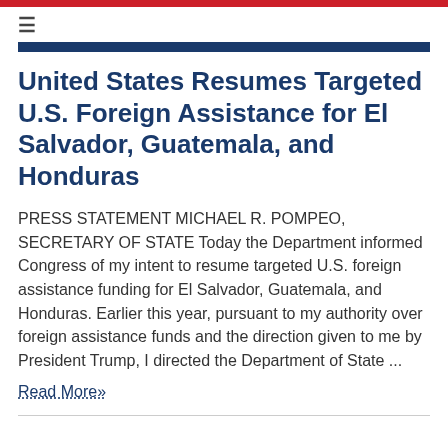≡
United States Resumes Targeted U.S. Foreign Assistance for El Salvador, Guatemala, and Honduras
PRESS STATEMENT MICHAEL R. POMPEO, SECRETARY OF STATE Today the Department informed Congress of my intent to resume targeted U.S. foreign assistance funding for El Salvador, Guatemala, and Honduras. Earlier this year, pursuant to my authority over foreign assistance funds and the direction given to me by President Trump, I directed the Department of State ...
Read More»